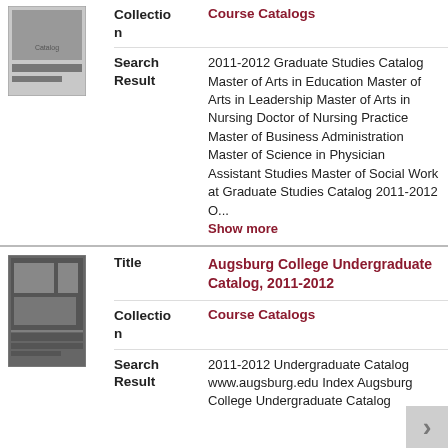[Figure (photo): Thumbnail image of a course catalog cover (partially visible at top)]
Collection
Course Catalogs
Search Result
2011-2012 Graduate Studies Catalog Master of Arts in Education Master of Arts in Leadership Master of Arts in Nursing Doctor of Nursing Practice Master of Business Administration Master of Science in Physician Assistant Studies Master of Social Work at Graduate Studies Catalog 2011-2012 O...
Show more
[Figure (photo): Thumbnail image of Augsburg College Undergraduate Catalog 2011-2012 cover]
Title
Augsburg College Undergraduate Catalog, 2011-2012
Collection
Course Catalogs
Search Result
2011-2012 Undergraduate Catalog www.augsburg.edu Index Augsburg College Undergraduate Catalog